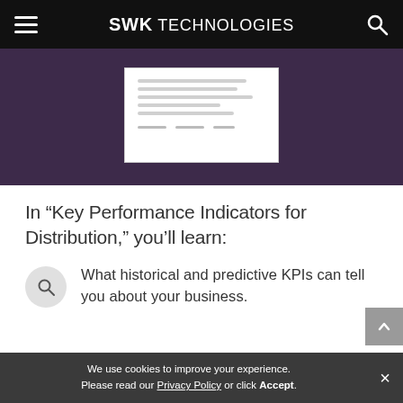SWK Technologies
[Figure (screenshot): Hero banner with purple/dark background showing a partially visible white document page]
In “Key Performance Indicators for Distribution,” you’ll learn:
What historical and predictive KPIs can tell you about your business.
We use cookies to improve your experience. Please read our Privacy Policy or click Accept.